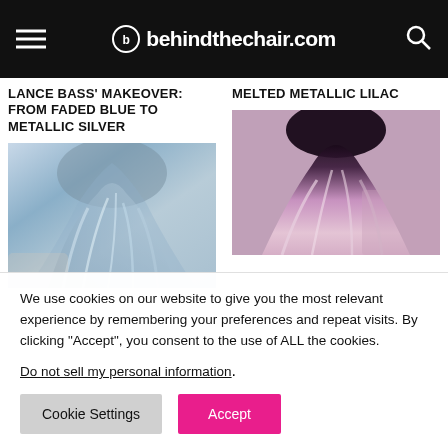behindthechair.com
LANCE BASS' MAKEOVER: FROM FADED BLUE TO METALLIC SILVER
MELTED METALLIC LILAC
[Figure (photo): Back view of hair styled in metallic silver/blue tones with wavy layers]
[Figure (photo): Back view of hair styled in melted metallic lilac/pink tones with dark roots]
We use cookies on our website to give you the most relevant experience by remembering your preferences and repeat visits. By clicking “Accept”, you consent to the use of ALL the cookies.
Do not sell my personal information.